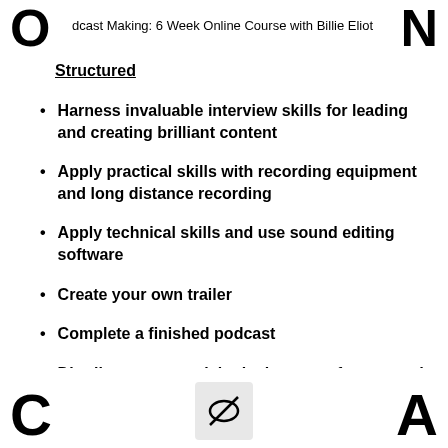dcast Making: 6 Week Online Course with Billie Eliot
Structured
Harness invaluable interview skills for leading and creating brilliant content
Apply practical skills with recording equipment and long distance recording
Apply technical skills and use sound editing software
Create your own trailer
Complete a finished podcast
Distribute your work in the best way for you and your
C  A